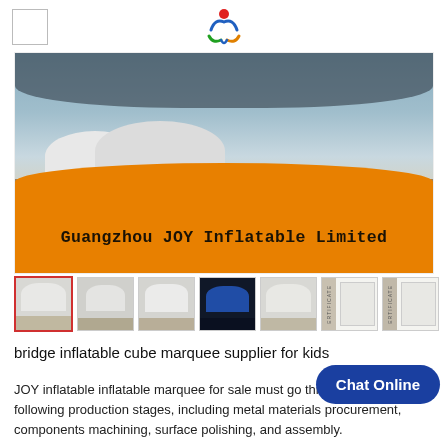[Figure (logo): Empty checkbox/logo placeholder box in top left]
[Figure (logo): Guangzhou JOY Inflatable Limited colorful logo mark centered at top]
[Figure (photo): Main product banner showing inflatable cube marquee tent with orange background and company name: Guangzhou JOY Inflatable Limited]
[Figure (photo): Thumbnail row showing 7 product and certificate images]
bridge inflatable cube marquee supplier for kids
JOY inflatable inflatable marquee for sale must go through these following production stages, including metal materials procurement, components machining, surface polishing, and assembly.